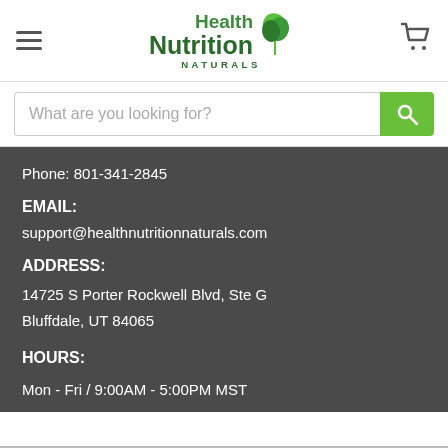[Figure (logo): Health Nutrition Naturals logo with green leaf icon and green text]
What are you looking for?
Phone: 801-341-2845
EMAIL:
support@healthnutritionnaturals.com
ADDRESS:
14725 S Porter Rockwell Blvd, Ste G
Bluffdale, UT 84065
HOURS:
Mon - Fri / 9:00AM - 5:00PM MST